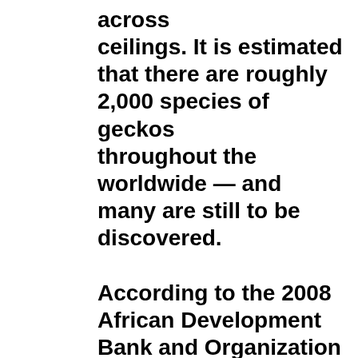across ceilings. It is estimated that there are roughly 2,000 species of geckos throughout the worldwide — and many are still to be discovered.

According to the 2008 African Development Bank and Organization of Economic Development report for Cape Verde, its economy grew more than 10 percent in